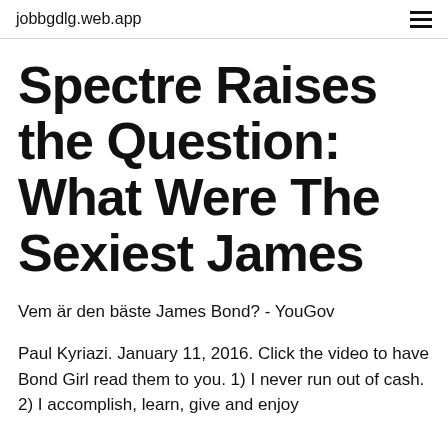jobbgdlg.web.app
Spectre Raises the Question: What Were The Sexiest James
Vem är den bäste James Bond? - YouGov
Paul Kyriazi. January 11, 2016. Click the video to have Bond Girl read them to you. 1) I never run out of cash. 2) I accomplish, learn, give and enjoy